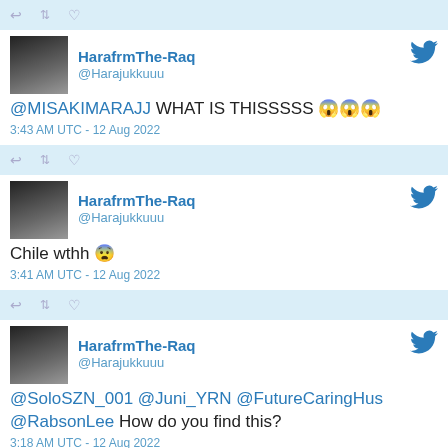[Figure (screenshot): Twitter/social media action bar with reply, retweet, and like icons on light blue background]
HarafrmThe-Raq @Harajukkuuu — @MISAKIMARAJJ WHAT IS THISSSSS 😱😱😱 — 3:43 AM UTC - 12 Aug 2022
[Figure (screenshot): Twitter/social media action bar with reply, retweet, and like icons on light blue background]
HarafrmThe-Raq @Harajukkuuu — Chile wthh 😨 — 3:41 AM UTC - 12 Aug 2022
[Figure (screenshot): Twitter/social media action bar with reply, retweet, and like icons on light blue background]
HarafrmThe-Raq @Harajukkuuu — @SoloSZN_001 @Juni_YRN @FutureCaringHus @RabsonLee How do you find this? — 3:18 AM UTC - 12 Aug 2022
[Figure (screenshot): Twitter/social media action bar with reply, retweet, and like icons on light blue background]